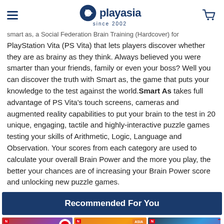playasia since 2002
smart as, a Social Federation Brain Training (Hardcover) for PlayStation Vita (PS Vita) that lets players discover whether they are as brainy as they think. Always believed you were smarter than your friends, family or even your boss? Well you can discover the truth with Smart as, the game that puts your knowledge to the test against the world. Smart As takes full advantage of PS Vita's touch screens, cameras and augmented reality capabilities to put your brain to the test in 20 unique, engaging, tactile and highly-interactive puzzle games testing your skills of Arithmetic, Logic, Language and Observation. Your scores from each category are used to calculate your overall Brain Power and the more you play, the better your chances are of increasing your Brain Power score and unlocking new puzzle games.
Recommended For You
[Figure (photo): Three Nintendo Switch game product cards shown side by side with Pre Order badges]